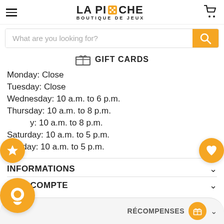LA PIOCHE BOUTIQUE DE JEUX
What are you looking for?
GIFT CARDS
Monday: Close
Tuesday: Close
Wednesday: 10 a.m. to 6 p.m.
Thursday: 10 a.m. to 8 p.m.
Friday: 10 a.m. to 8 p.m.
Saturday: 10 a.m. to 5 p.m.
Sunday: 10 a.m. to 5 p.m.
INFORMATIONS
MON COMPTE
RÉCOMPENSES